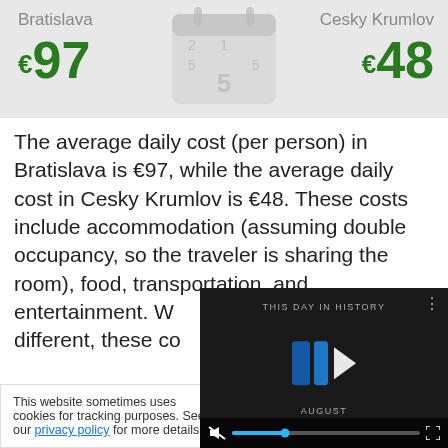[Figure (infographic): Top banner with city comparison: Bratislava €97 on left, Cesky Krumlov €48 on right, with a faded calendar icon in the center]
The average daily cost (per person) in Bratislava is €97, while the average daily cost in Cesky Krumlov is €48. These costs include accommodation (assuming double occupancy, so the traveler is sharing the room), food, transportation, and entertainment. W... different, these co...
This website sometimes uses cookies for tracking purposes. See our privacy policy for more details.
[Figure (screenshot): Video overlay showing 'THIS DAY IN HISTORY' with blue logo/play button, muted audio controls, and progress bar]